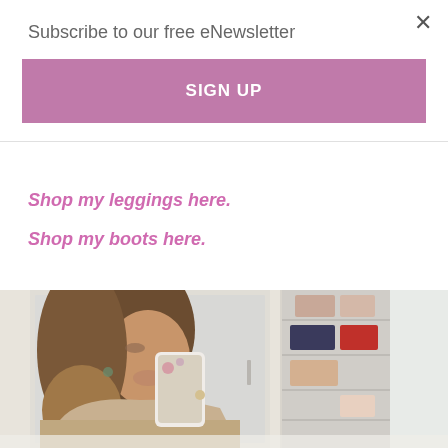Subscribe to our free eNewsletter
SIGN UP
Shop my leggings here.
Shop my boots here.
[Figure (photo): Woman taking a mirror selfie in a beige knit sweater holding a phone with a floral case. Background shows white wardrobe doors and a bookshelf with bags. Bottom portion shows a white room interior.]